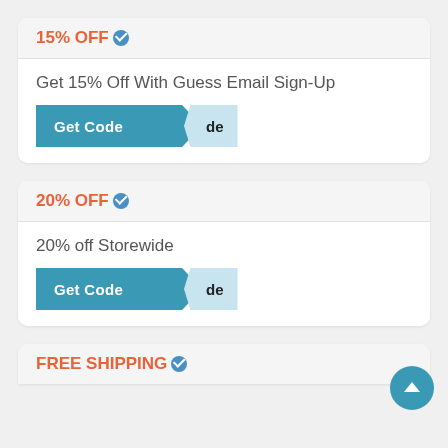15% OFF
Get 15% Off With Guess Email Sign-Up
[Figure (other): Get Code button with teal color and folded reveal tab]
20% OFF
20% off Storewide
[Figure (other): Get Code button with teal color and folded reveal tab]
FREE SHIPPING